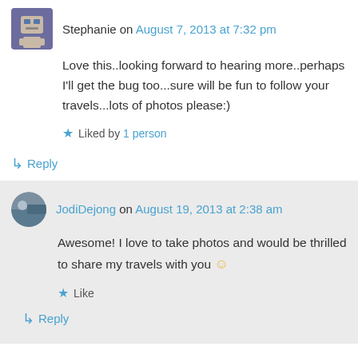Stephanie on August 7, 2013 at 7:32 pm
Love this..looking forward to hearing more..perhaps I'll get the bug too...sure will be fun to follow your travels...lots of photos please:)
★ Liked by 1 person
↳ Reply
JodiDejong on August 19, 2013 at 2:38 am
Awesome! I love to take photos and would be thrilled to share my travels with you 🙂
★ Like
↳ Reply